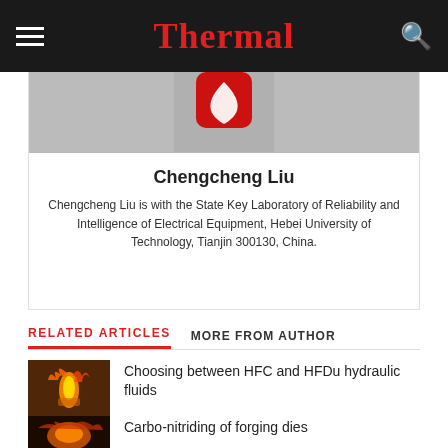Thermal
[Figure (logo): Red stylized logo icon for Thermal publication]
Chengcheng Liu
Chengcheng Liu is with the State Key Laboratory of Reliability and Intelligence of Electrical Equipment, Hebei University of Technology, Tianjin 300130, China.
RELATED ARTICLES
MORE FROM AUTHOR
[Figure (photo): Photo of hot glowing metal rod being handled with tongs in industrial/forge setting]
Choosing between HFC and HFDu hydraulic fluids
[Figure (photo): Photo of heated orange metal in forge/industrial setting]
Carbo-nitriding of forging dies